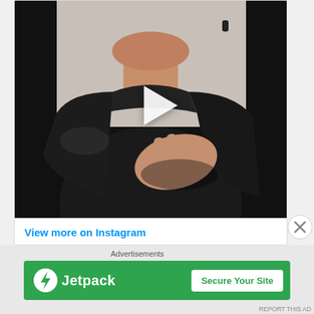[Figure (screenshot): Instagram embedded video thumbnail showing a man in a black t-shirt with his hand on his chest, viewed from neck/shoulders down. A white play button triangle is overlaid in the center-upper area. The background behind the card is black.]
View more on Instagram
[Figure (screenshot): Instagram action bar with heart (like), comment bubble, share arrow icons on the left, and a save/bookmark icon on the right. Also a close X circle button on the far right outside the card.]
Advertisements
[Figure (logo): Jetpack advertisement banner: green background with Jetpack lightning bolt logo and name on the left, and a white 'Secure Your Site' button on the right.]